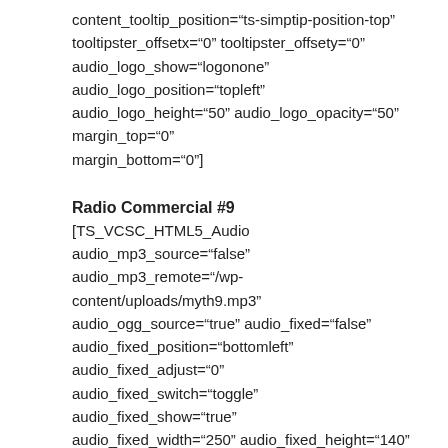content_tooltip_position="ts-simptip-position-top" tooltipster_offsetx="0" tooltipster_offsety="0" audio_logo_show="logonone" audio_logo_position="topleft" audio_logo_height="50" audio_logo_opacity="50" margin_top="0" margin_bottom="0"]
Radio Commercial #9
[TS_VCSC_HTML5_Audio audio_mp3_source="false" audio_mp3_remote="/wp-content/uploads/myth9.mp3" audio_ogg_source="true" audio_fixed="false" audio_fixed_position="bottomleft" audio_fixed_adjust="0" audio_fixed_switch="toggle" audio_fixed_show="true" audio_fixed_width="250" audio_fixed_height="140" audio_theme="totallylookslike" audio_bar_only="true" audio_volume="25" audio_auto="false" audio_stop="true" audio_loop="false" audio_share="true" content_tooltip_position="ts-simptip-position-top" tooltipster_offsetx="0" tooltipster_offsety="0" audio_logo_show="logonone" audio_logo_position="topleft" audio_logo_height="50" audio_logo_opacity="50" margin_top="0"